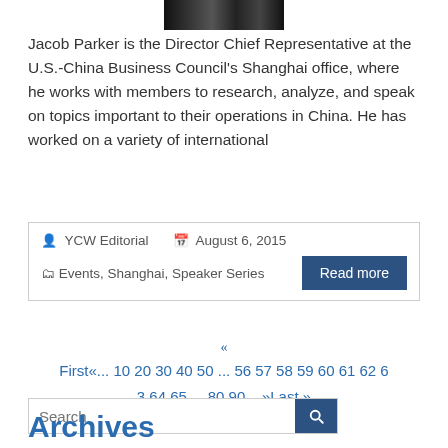[Figure (photo): Partial photo strip of a person, cropped at top of page]
Jacob Parker is the Director Chief Representative at the U.S.-China Business Council's Shanghai office, where he works with members to research, analyze, and speak on topics important to their operations in China. He has worked on a variety of international
YCW Editorial   August 6, 2015
Events, Shanghai, Speaker Series
«
First«... 10 20 30 40 50 ... 56 57 58 59 60 61 62 63 64 65 ... 80 90 ...»Last »
Search
Archives